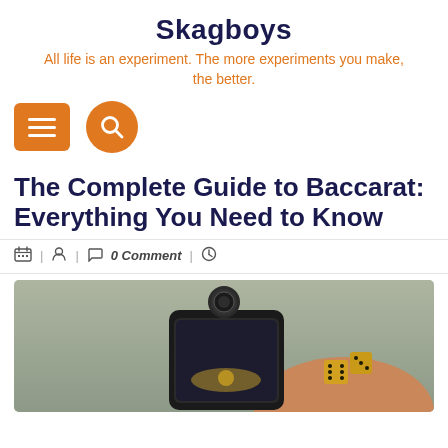Skagboys
All life is an experiment. The more experiments you make, the better.
[Figure (infographic): Orange rounded rectangle menu button with three white horizontal lines, and an orange circular search button with a magnifying glass icon]
The Complete Guide to Baccarat: Everything You Need to Know
| 🧑 | 💬 0 Comment | 🕐
[Figure (photo): A smartphone screen showing casino-related imagery with a coin flipping in the air and dice, held in a hand against a grey-green background]